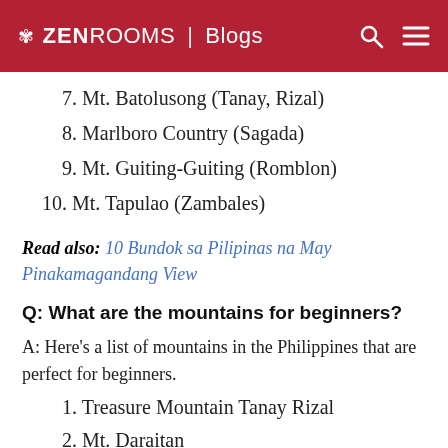ZEN ROOMS | Blogs
7. Mt. Batolusong (Tanay, Rizal)
8. Marlboro Country (Sagada)
9. Mt. Guiting-Guiting (Romblon)
10. Mt. Tapulao (Zambales)
Read also: 10 Bundok sa Pilipinas na May Pinakamagandang View
Q: What are the mountains for beginners?
A: Here's a list of mountains in the Philippines that are perfect for beginners.
1. Treasure Mountain Tanay Rizal
2. Mt. Daraitan